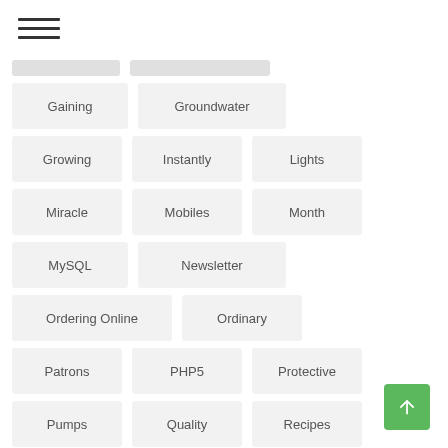[Figure (screenshot): Hamburger menu icon (three horizontal lines) in the top-left corner]
Gaining
Groundwater
Growing
Instantly
Lights
Miracle
Mobiles
Month
MySQL
Newsletter
Ordering Online
Ordinary
Patrons
PHP5
Protective
Pumps
Quality
Recipes
Refrigerator
Roof-Mounted